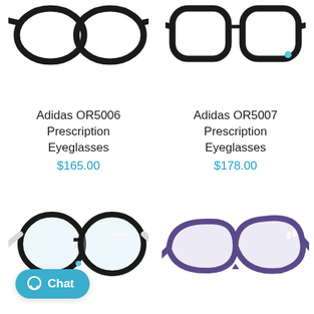[Figure (photo): Adidas OR5006 prescription eyeglasses, black frame, partially cropped at top]
[Figure (photo): Adidas OR5007 prescription eyeglasses, black frame with logo, partially cropped at top]
Adidas OR5006 Prescription Eyeglasses
$165.00
Adidas OR5007 Prescription Eyeglasses
$178.00
[Figure (photo): Adidas prescription eyeglasses, black frame with white temples, round style]
[Figure (photo): Adidas prescription eyeglasses, purple/violet frame, cat-eye style]